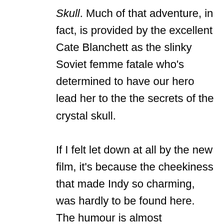Skull. Much of that adventure, in fact, is provided by the excellent Cate Blanchett as the slinky Soviet femme fatale who's determined to have our hero lead her to the the secrets of the crystal skull.

If I felt let down at all by the new film, it's because the cheekiness that made Indy so charming, was hardly to be found here. The humour is almost